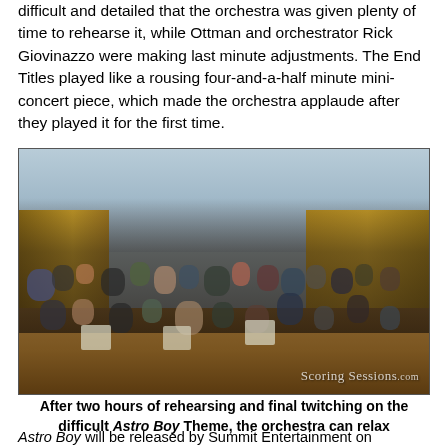difficult and detailed that the orchestra was given plenty of time to rehearse it, while Ottman and orchestrator Rick Giovinazzo were making last minute adjustments. The End Titles played like a rousing four-and-a-half minute mini-concert piece, which made the orchestra applaude after they played it for the first time.
[Figure (photo): Orchestra musicians rehearsing in a large recording studio with wood-paneled walls and blue acoustic panels. Musicians are seated with instruments raised. Watermark reads 'Scoring Sessions.com'.]
After two hours of rehearsing and final twitching on the difficult Astro Boy Theme, the orchestra can relax
Astro Boy will be released by Summit Entertainment on